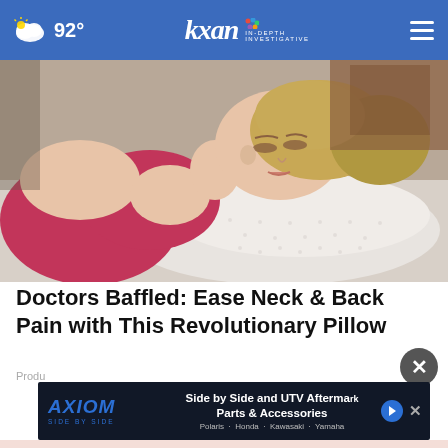92° | kxan IN-DEPTH INVESTIGATIVE
[Figure (photo): Woman with blonde hair wearing a pink/magenta sports bra lying on her side on a white ergonomic contour memory foam pillow, eyes closed, in a bedroom setting]
Doctors Baffled: Ease Neck & Back Pain with This Revolutionary Pillow
Produ...
[Figure (other): Axiom Side by Side advertisement banner: 'Side by Side and UTV Aftermarket Parts & Accessories - Polaris · Honda · Kawasaki · Yamaha']